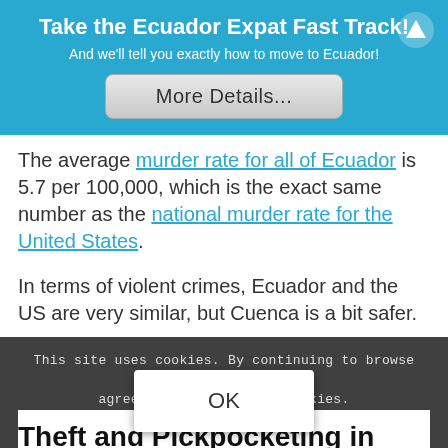Take the Ecuador Expat Fast Track!
And we'll tell you exactly how to move to Ecuador!
[Figure (other): Button labeled 'More Details...']
The average murder rate for all of Ecuador is 5.7 per 100,000, which is the exact same number as the national murder rate for the United States.
In terms of violent crimes, Ecuador and the US are very similar, but Cuenca is a bit safer.
Theft and Pickpocketing in Cuenca Ecua...
This site uses cookies. By continuing to browse the site, you are agreeing to our use of cookies.
OK